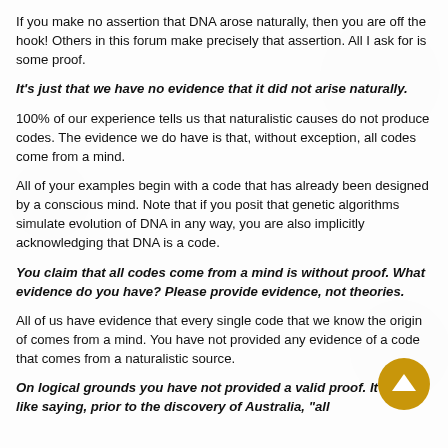If you make no assertion that DNA arose naturally, then you are off the hook! Others in this forum make precisely that assertion. All I ask for is some proof.
It's just that we have no evidence that it did not arise naturally.
100% of our experience tells us that naturalistic causes do not produce codes. The evidence we do have is that, without exception, all codes come from a mind.
All of your examples begin with a code that has already been designed by a conscious mind. Note that if you posit that genetic algorithms simulate evolution of DNA in any way, you are also implicitly acknowledging that DNA is a code.
You claim that all codes come from a mind is without proof. What evidence do you have? Please provide evidence, not theories.
All of us have evidence that every single code that we know the origin of comes from a mind. You have not provided any evidence of a code that comes from a naturalistic source.
On logical grounds you have not provided a valid proof. It's just like saying, prior to the discovery of Australia, "all